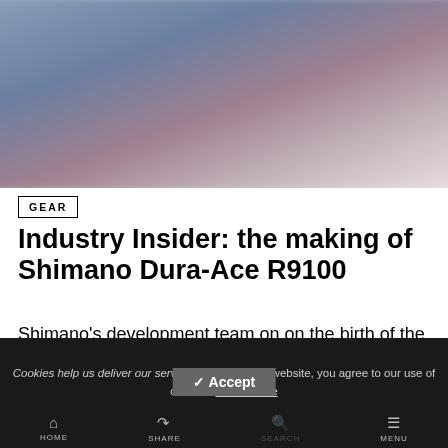[Figure (photo): Blurred hero image with dark blue-grey and pink tones, showing out-of-focus cycling/equipment subject]
GEAR
Industry Insider: the making of Shimano Dura-Ace R9100
Shimano’s development team on on the birth of the Japanese firm's latest flagship road groupset
Cookies help us deliver our services. By using this website, you agree to our use of cookies. Learn More
✓ Accept
HOME   SHARE   SEARCH   MENU